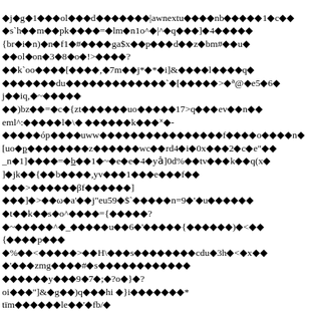◆j◆g◆1◆◆◆ol◆◆◆d◆◆◆◆◆◆◆|awnextu◆◆◆◆nb◆◆◆◆◆1◆c◆◆
◆s`h◆◆m◆◆pk◆◆◆◆=◆lm◆n1o^◆|^◆q◆◆◆]◆4◆◆◆◆◆
{br◆i◆n)◆n◆f1◆#◆◆◆◆ga$x◆◆p◆◆◆d◆◆z◆bm#◆◆u◆
◆◆ol◆on◆3◆8◆o◆!>◆◆◆◆?
◆◆k`oo◆◆◆◆[◆◆◆◆,◆7m◆◆j*◆*◆i]&◆◆◆◆l◆◆◆◆q◆
◆◆◆◆◆◆◆du◆◆◆◆◆◆◆◆◆◆◆◆◆`◆[◆◆◆◆◆>◆ᵃ@◆e5◆6◆
j◆◆iq,◆~◆◆◆◆◆
◆◆)bz◆◆=◆c◆{zt◆◆◆◆◆◆uo◆◆◆◆◆17>q◆◆◆ev◆◆n◆◆
eml^:◆◆◆◆◆l◆\◆ ◆◆◆◆◆◆k◆◆◆ˣ◆-
◆◆◆◆◆óp◆◆◆◆uww◆◆◆◆◆◆◆◆◆◆◆◆◆◆◆◆f◆◆◆◆o◆◆◆◆n◆
[uo◆p̲◆◆◆◆◆◆◆◆z◆◆◆◆◆◆wc◆◆rd4◆i◆0x◆◆◆2◆c◆e"◆◆
_n◆1]◆◆◆◆=◆b̲◆◆1◆~◆e◆e◆4◆yȧ]0d%◆◆tv◆◆◆k◆◆q(x◆
]◆jk◆◆{◆◆b◆◆◆◆,yv◆◆◆1◆◆◆e◆◆◆f◆◆
◆◆◆>◆◆◆◆◆◆βf◆◆◆◆◆◆]
◆◆◆]◆>◆◆ω◆a'◆◆j"eu59◆$`◆◆◆◆◆n=9◆'◆u◆◆◆◆◆◆
◆t◆◆k◆◆s◆o^◆◆◆◆={◆◆◆◆◆?
◆~◆◆◆◆◆^◆_◆◆◆◆◆u◆◆6◆'◆◆◆◆◆{◆◆◆◆◆◆)◆<◆◆
{◆◆◆◆p◆◆◆
◆%◆◆<◆◆◆◆◆>◆◆Η\◆◆◆s◆◆◆◆◆◆◆◆cdu◆3h◆<◆x◆◆
◆'◆◆◆zmg◆◆◆◆#◆s◆◆◆◆◆◆◆◆◆◆◆◆
◆◆◆◆◆◆y◆◆◆9◆7◆;◆?o◆}◆?
oi◆◆◆"]&◆g◆◆)q◆◆◆hi ◆}i◆◆◆◆◆◆◆*
tїm◆◆◆◆◆◆le◆◆'◆fb/◆
◆${m;.◆◆◆=.◆◆ï.◆`◆◆◆:◆g(◆th]d◆_b◆◆◆◆◆>◆f`◆◆q◆◆